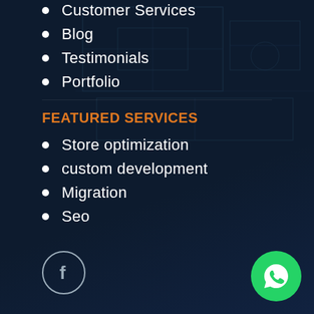Customer Services
Blog
Testimonials
Portfolio
FEATURED SERVICES
Store optimization
custom development
Migration
Seo
[Figure (illustration): Facebook social media icon in circular outline]
[Figure (illustration): WhatsApp icon in green circle]